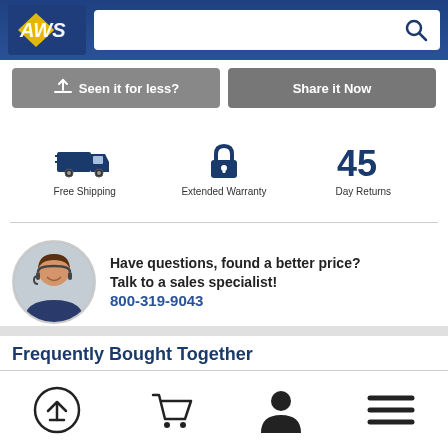[Figure (logo): AMS logo with yellow lightning bolt on blue background]
[Figure (screenshot): Search bar with magnifying glass icon]
Seen it for less?
Share it Now
[Figure (infographic): Free Shipping truck icon, Extended Warranty padlock icon, 45 Day Returns icon]
[Figure (photo): Circular photo of smiling male sales specialist wearing headset]
Have questions, found a better price? Talk to a sales specialist! 800-319-9043
Frequently Bought Together
[Figure (infographic): Bottom navigation bar with upload arrow, shopping cart, user profile, and hamburger menu icons]